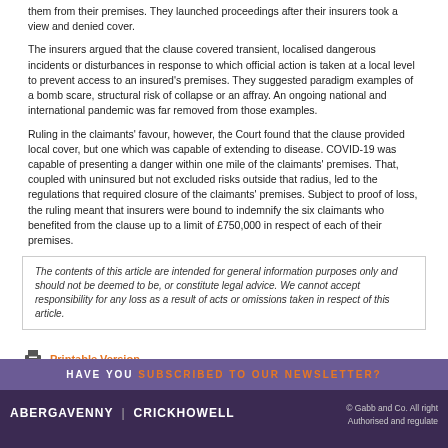them from their premises. They launched proceedings after their insurers took a view and denied cover.
The insurers argued that the clause covered transient, localised dangerous incidents or disturbances in response to which official action is taken at a local level to prevent access to an insured's premises. They suggested paradigm examples of a bomb scare, structural risk of collapse or an affray. An ongoing national and international pandemic was far removed from those examples.
Ruling in the claimants' favour, however, the Court found that the clause provided local cover, but one which was capable of extending to disease. COVID-19 was capable of presenting a danger within one mile of the claimants' premises. That, coupled with uninsured but not excluded risks outside that radius, led to the regulations that required closure of the claimants' premises. Subject to proof of loss, the ruling meant that insurers were bound to indemnify the six claimants who benefited from the clause up to a limit of £750,000 in respect of each of their premises.
The contents of this article are intended for general information purposes only and should not be deemed to be, or constitute legal advice. We cannot accept responsibility for any loss as a result of acts or omissions taken in respect of this article.
Printable Version
HAVE YOU SUBSCRIBED TO OUR NEWSLETTER?
ABERGAVENNY | CRICKHOWELL © Gabb and Co. All rights reserved. Authorised and regulated...